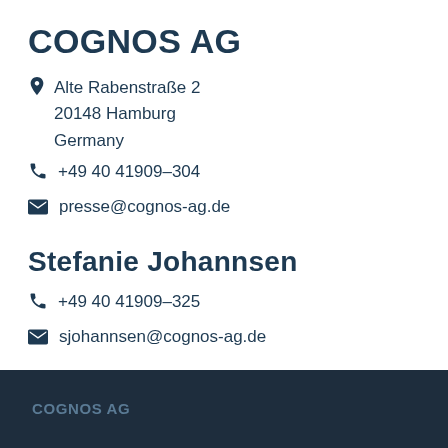COGNOS AG
Alte Rabenstraße 2
20148 Hamburg
Germany
+49 40 41909-304
presse@cognos-ag.de
Stefanie Johannsen
+49 40 41909-325
sjohannsen@cognos-ag.de
COGNOS AG